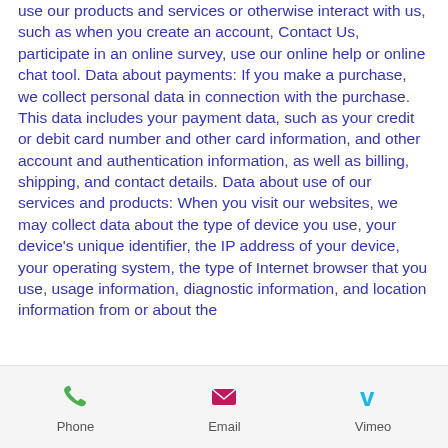use our products and services or otherwise interact with us, such as when you create an account, Contact Us, participate in an online survey, use our online help or online chat tool. Data about payments: If you make a purchase, we collect personal data in connection with the purchase. This data includes your payment data, such as your credit or debit card number and other card information, and other account and authentication information, as well as billing, shipping, and contact details. Data about use of our services and products: When you visit our websites, we may collect data about the type of device you use, your device's unique identifier, the IP address of your device, your operating system, the type of Internet browser that you use, usage information, diagnostic information, and location information from or about the
Phone | Email | Vimeo